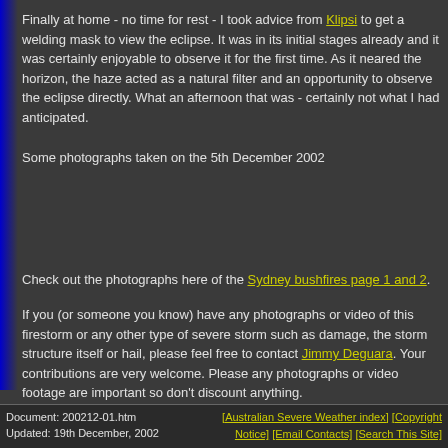Finally at home - no time for rest - I took advice from Klipsi to get a welding mask to view the eclipse. It was in its initial stages already and it was certainly enjoyable to observe it for the first time. As it neared the horizon, the haze acted as a natural filter and an opportunity to observe the eclipse directly. What an afternoon that was - certainly not what I had anticipated.
Some photographs taken on the 5th December 2002
Check out the photographs here of the Sydney bushfires page 1 and 2.
If you (or someone you know) have any photographs or video of this firestorm or any other type of severe storm such as damage, the storm structure itself or hail, please feel free to contact Jimmy Deguara. Your contributions are very welcome. Please any photographs or video footage are important so don't discount anything.
Document: 200212-01.htm
Updated: 19th December, 2002
[Australian Severe Weather index] [Copyright Notice] [Email Contacts] [Search This Site]